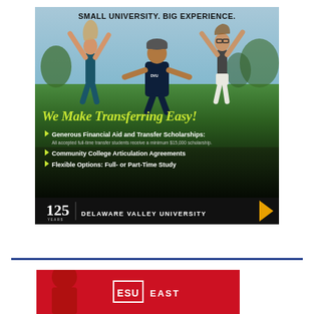[Figure (illustration): Delaware Valley University advertisement featuring three students jumping outdoors with text 'Small University. Big Experience.' and 'We Make Transferring Easy!' with bullet points about financial aid, articulation agreements, and flexible study options. Footer shows 125 Years badge and Delaware Valley University name.]
[Figure (illustration): Partial view of East Stroudsburg University (ESU) advertisement with red background, partially cropped at bottom of page.]